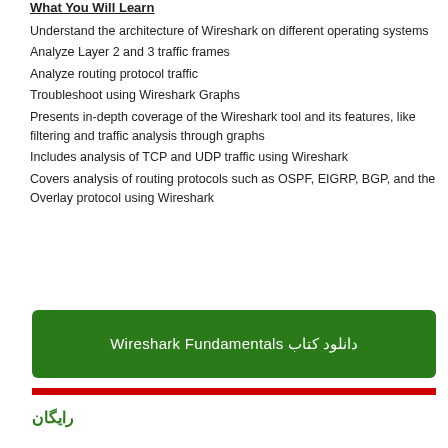What You Will Learn
Understand the architecture of Wireshark on different operating systems
Analyze Layer 2 and 3 traffic frames
Analyze routing protocol traffic
Troubleshoot using Wireshark Graphs
Presents in-depth coverage of the Wireshark tool and its features, like filtering and traffic analysis through graphs
Includes analysis of TCP and UDP traffic using Wireshark
Covers analysis of routing protocols such as OSPF, EIGRP, BGP, and the Overlay protocol using Wireshark
دانلود کتاب Wireshark Fundamentals
رایگان